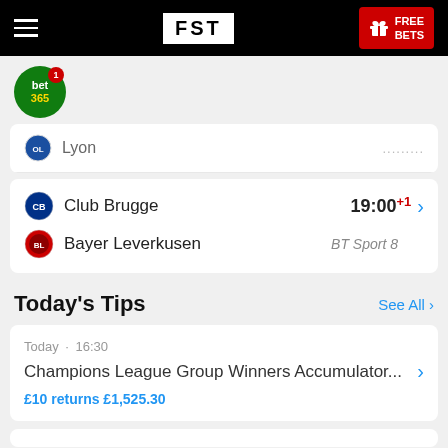FST | FREE BETS
[Figure (logo): bet365 circular green logo with notification badge showing 1]
Lyon
Club Brugge
Bayer Leverkusen
19:00 +1
BT Sport 8
Today's Tips
See All >
Today · 16:30
Champions League Group Winners Accumulator...
£10 returns £1,525.30